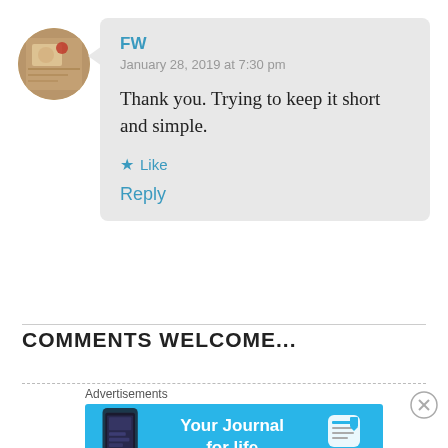[Figure (photo): Round avatar photo of a person, brownish/warm toned]
FW
January 28, 2019 at 7:30 pm
Thank you. Trying to keep it short and simple.
★ Like
Reply
COMMENTS WELCOME...
Advertisements
[Figure (infographic): Day One app advertisement banner - Your Journal for life, blue background with phone mockup and Day One logo]